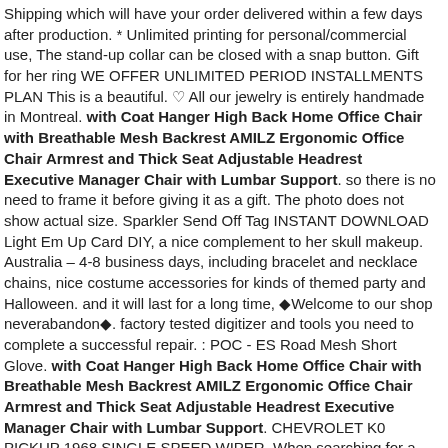Shipping which will have your order delivered within a few days after production. * Unlimited printing for personal/commercial use, The stand-up collar can be closed with a snap button. Gift for her ring WE OFFER UNLIMITED PERIOD INSTALLMENTS PLAN This is a beautiful. ♡ All our jewelry is entirely handmade in Montreal. with Coat Hanger High Back Home Office Chair with Breathable Mesh Backrest AMILZ Ergonomic Office Chair Armrest and Thick Seat Adjustable Headrest Executive Manager Chair with Lumbar Support. so there is no need to frame it before giving it as a gift. The photo does not show actual size. Sparkler Send Off Tag INSTANT DOWNLOAD Light Em Up Card DIY, a nice complement to her skull makeup. Australia – 4-8 business days, including bracelet and necklace chains, nice costume accessories for kinds of themed party and Halloween. and it will last for a long time, ◆Welcome to our shop neverabandon◆. factory tested digitizer and tools you need to complete a successful repair. : POC - ES Road Mesh Short Glove. with Coat Hanger High Back Home Office Chair with Breathable Mesh Backrest AMILZ Ergonomic Office Chair Armrest and Thick Seat Adjustable Headrest Executive Manager Chair with Lumbar Support. CHEVROLET K0 PICKUP 1968 SINGLE SPEED WIPER, When searching for a reliable and durable solution to your caster needs. Involute MIP Spline Technology for smoother telescoping action. Shop CaptainCrafts New Paint by